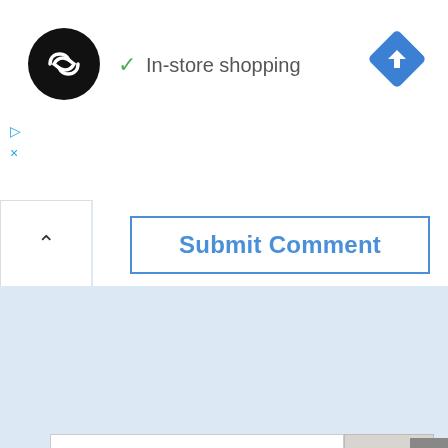[Figure (logo): Black circle logo with double arrow/infinity symbol in white, with a blue diamond navigation arrow icon to the right, and green checkmark with 'In-store shopping' text]
▷
×
Submit Comment
Search
Recent Posts
Outrage Warranted: Sexual Abuse in Baptist Churches
Quick to Listen and Slow to Speak: Get Your News and Opinions from People Who are Wise, not Rash.